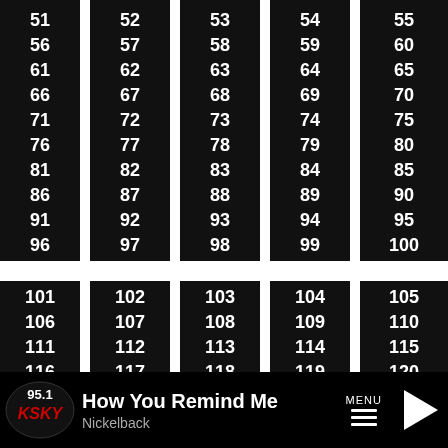[Figure (screenshot): Scrollable number list showing numbers 51-129 arranged in 5 columns with black backgrounds and white text, staggered heights, showing a channel/preset selector UI]
95.1 KSKY | How You Remind Me | Nickelback | MENU | Play button